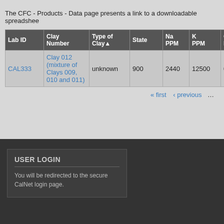The CFC - Products - Data page presents a link to a downloadable spreadshee...
| Lab ID | Clay Number | Type of Clay▲ | State | Na PPM | K PPM | Ca PPM | Sc PPM |
| --- | --- | --- | --- | --- | --- | --- | --- |
| CAL333 | Clay 012 (mixture of Clays 009, 010 and 011) | unknown | 900 | 2440 | 12500 | 0 | 12.20 |
« first ‹ previous ...
USER LOGIN
You will be redirected to the secure CalNet login page.